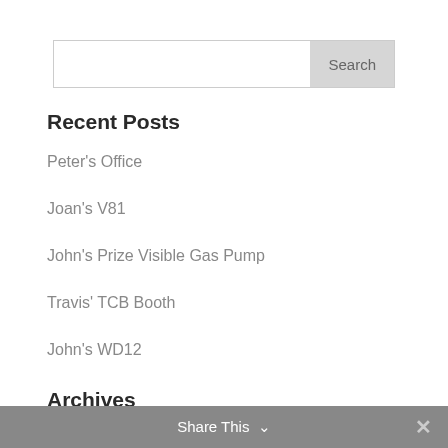Search
Recent Posts
Peter's Office
Joan's V81
John's Prize Visible Gas Pump
Travis' TCB Booth
John's WD12
Archives
Select Month
Share This  ✕